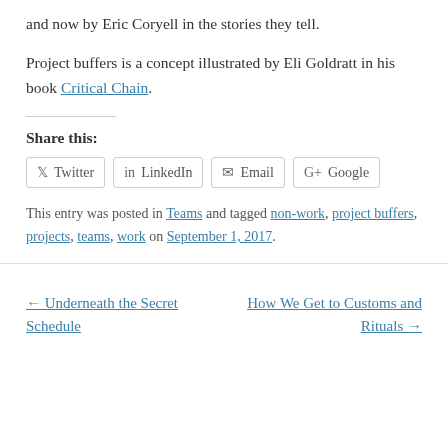and now by Eric Coryell in the stories they tell.
Project buffers is a concept illustrated by Eli Goldratt in his book Critical Chain.
Share this:
Twitter LinkedIn Email Google
This entry was posted in Teams and tagged non-work, project buffers, projects, teams, work on September 1, 2017.
← Underneath the Secret Schedule
How We Get to Customs and Rituals →